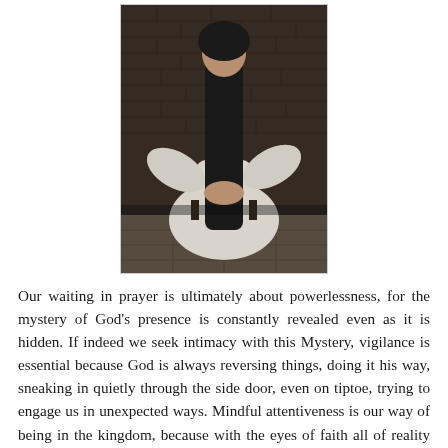[Figure (photo): A monk or friar seated in a chair wearing a white robe and dark scapular, hands folded, with a brick wall background and tiled floor]
Our waiting in prayer is ultimately about powerlessness, for the mystery of God's presence is constantly revealed even as it is hidden. If indeed we seek intimacy with this Mystery, vigilance is essential because God is always reversing things, doing it his way, sneaking in quietly through the side door, even on tiptoe, trying to engage us in unexpected ways. Mindful attentiveness is our way of being in the kingdom, because with the eyes of faith all of reality becomes increasingly transparent to the transcendent beauty of the One who is always advancing toward us.